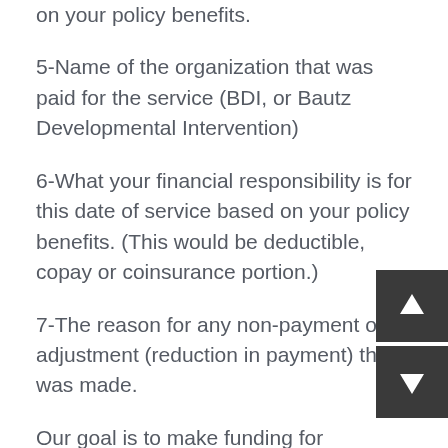on your policy benefits.
5-Name of the organization that was paid for the service (BDI, or Bautz Developmental Intervention)
6-What your financial responsibility is for this date of service based on your policy benefits. (This would be deductible, copay or coinsurance portion.)
7-The reason for any non-payment or adjustment (reduction in payment) that was made.
Our goal is to make funding for your insurance as stress-free as possible. If you need additional help are only a phone call or email away! Our patient families can reach us at office@bdiplayhouse.com 708-478-1820.